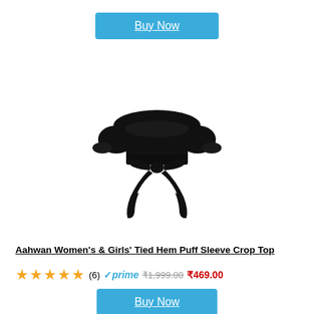Buy Now
[Figure (photo): Black off-shoulder puff sleeve crop top with tied front bow, product photo on white background]
Aahwan Women's & Girls' Tied Hem Puff Sleeve Crop Top
★★★★★ (6) ✓prime ₹1,999.00 ₹469.00
Buy Now
[Figure (photo): Small thumbnail images of product in different colors: beige/white, dark green, cream]